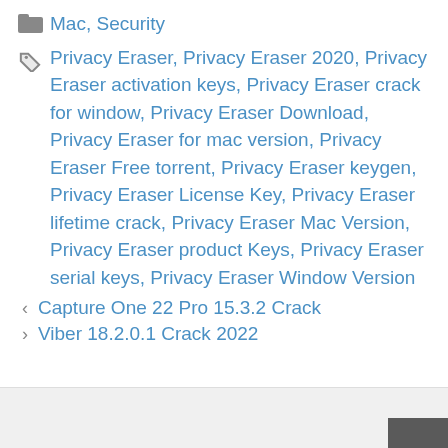Mac, Security
Privacy Eraser, Privacy Eraser 2020, Privacy Eraser activation keys, Privacy Eraser crack for window, Privacy Eraser Download, Privacy Eraser for mac version, Privacy Eraser Free torrent, Privacy Eraser keygen, Privacy Eraser License Key, Privacy Eraser lifetime crack, Privacy Eraser Mac Version, Privacy Eraser product Keys, Privacy Eraser serial keys, Privacy Eraser Window Version
< Capture One 22 Pro 15.3.2 Crack
> Viber 18.2.0.1 Crack 2022